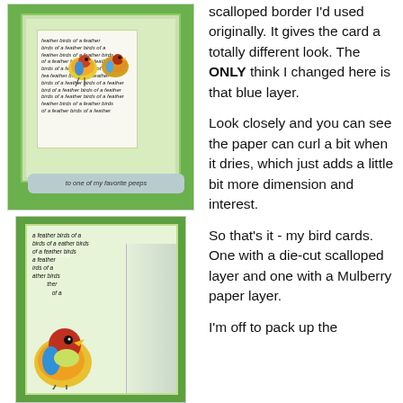[Figure (photo): Handmade bird card with green background, decorative patterned paper, stamped birds, text layer, and a blue sentiment label strip reading 'to one of my favorite peeps']
[Figure (photo): Close-up of second bird card with green background, Mulberry paper layer with torn textured edge, colorful stamped bird, and handwritten-style text pattern]
scalloped border I'd used originally. It gives the card a totally different look. The ONLY think I changed here is that blue layer.

Look closely and you can see the paper can curl a bit when it dries, which just adds a little bit more dimension and interest.

So that's it - my bird cards. One with a die-cut scalloped layer and one with a Mulberry paper layer.

I'm off to pack up the